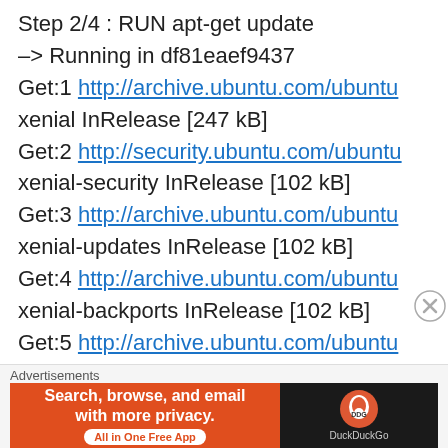Step 2/4 : RUN apt-get update
–> Running in df81eaef9437
Get:1 http://archive.ubuntu.com/ubuntu xenial InRelease [247 kB]
Get:2 http://security.ubuntu.com/ubuntu xenial-security InRelease [102 kB]
Get:3 http://archive.ubuntu.com/ubuntu xenial-updates InRelease [102 kB]
Get:4 http://archive.ubuntu.com/ubuntu xenial-backports InRelease [102 kB]
Get:5 http://archive.ubuntu.com/ubuntu xenial/universe Sources [9802 kB]
[Figure (infographic): DuckDuckGo advertisement banner: orange left panel with text 'Search, browse, and email with more privacy. All in One Free App' and dark right panel with DuckDuckGo logo and text 'DuckDuckGo']